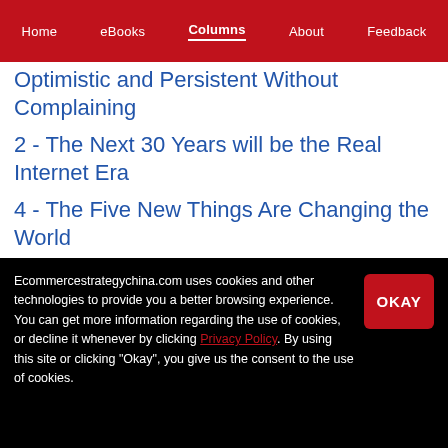Home | eBooks | Columns | About | Feedback
Optimistic and Persistent Without Complaining
2 - The Next 30 Years will be the Real Internet Era
4 - The Five New Things Are Changing the World
5 - Entrepreneurs are a Combination of Social Scientist and Artist
6 - EQ, IQ and Love Quotient are Essential to
Ecommercestrategychina.com uses cookies and other technologies to provide you a better browsing experience. You can get more information regarding the use of cookies, or decline it whenever by clicking Privacy Policy. By using this site or clicking "Okay", you give us the consent to the use of cookies.